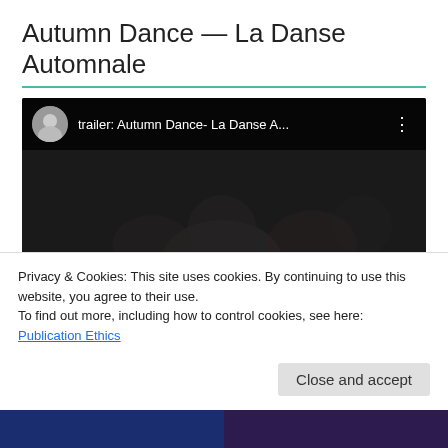Autumn Dance — La Danse Automnale
[Figure (screenshot): Embedded video player showing trailer: Autumn Dance- La Danse A... with a dark thumbnail featuring dancers, play button in center, progress bar showing 00:00 / 02:50]
Privacy & Cookies: This site uses cookies. By continuing to use this website, you agree to their use.
To find out more, including how to control cookies, see here: Publication Ethics
Close and accept